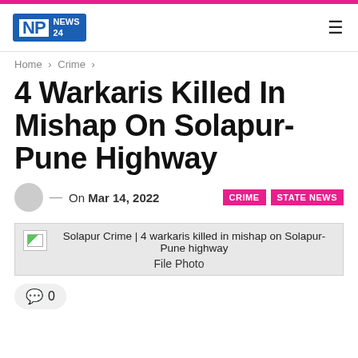NP NEWS 24
Home > Crime >
4 Warkaris Killed In Mishap On Solapur-Pune Highway
On Mar 14, 2022  CRIME  STATE NEWS
[Figure (photo): Placeholder image with caption: Solapur Crime | 4 warkaris killed in mishap on Solapur-Pune highway. File Photo.]
Solapur Crime | 4 warkaris killed in mishap on Solapur-Pune highway
File Photo
0